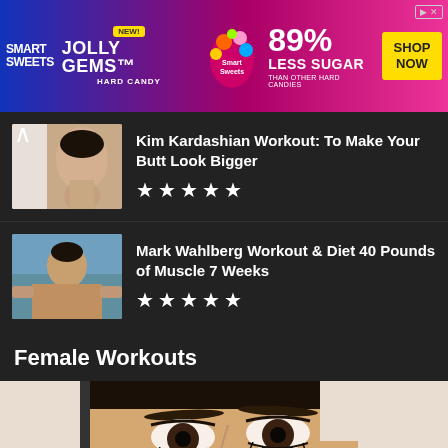[Figure (photo): Smart Sweets Jolly Gems advertisement banner: blue-to-pink gradient background, Smart Sweets branding, NEW! Jolly Gems Hard Candy, 89% Less Sugar than other hard candies, SHOP NOW button]
[Figure (photo): Thumbnail photo of Kim Kardashian]
Kim Kardashian Workout: To Make Your Butt Look Bigger
[Figure (other): Five star rating]
[Figure (photo): Thumbnail photo of Mark Wahlberg lifting weights]
Mark Wahlberg Workout & Diet 40 Pounds of Muscle 7 Weeks
[Figure (other): Five star rating]
Female Workouts
[Figure (photo): Close-up photo of a woman's face with dark hair, dramatic eye makeup]